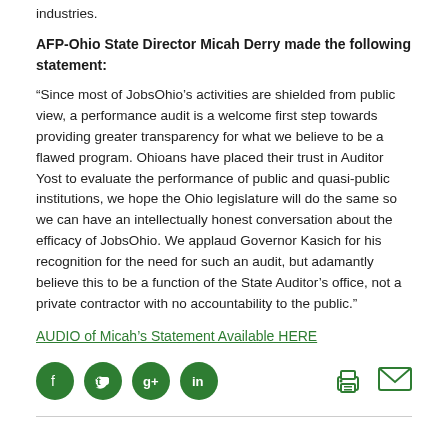industries.
AFP-Ohio State Director Micah Derry made the following statement:
“Since most of JobsOhio’s activities are shielded from public view, a performance audit is a welcome first step towards providing greater transparency for what we believe to be a flawed program. Ohioans have placed their trust in Auditor Yost to evaluate the performance of public and quasi-public institutions, we hope the Ohio legislature will do the same so we can have an intellectually honest conversation about the efficacy of JobsOhio. We applaud Governor Kasich for his recognition for the need for such an audit, but adamantly believe this to be a function of the State Auditor’s office, not a private contractor with no accountability to the public.”
AUDIO of Micah’s Statement Available HERE
[Figure (other): Social media icons (Facebook, Twitter, Google+, LinkedIn) and action icons (print, email)]